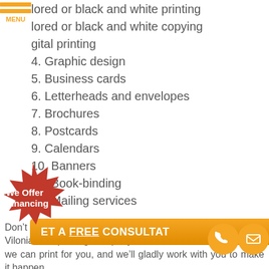[Figure (infographic): Orange hamburger menu icon with three horizontal bars and MENU text label]
lored or black and white printing
lored or black and white copying
gital printing
4. Graphic design
5. Business cards
6. Letterheads and envelopes
7. Brochures
8. Postcards
9. Calendars
10. Banners
11. Book-binding
12. Mailing services
Don’t see what you need in this list? Don’t worry! Call our Vilonia, AR printing company to find out which other items we can print for you, and we’ll gladly work with you to make it happen.
[Figure (infographic): Red starburst badge with white text 'We Offer Financing']
[Figure (infographic): Orange CTA bar with text 'GET A FREE CONSULTATION', phone button circle, and mail button circle]